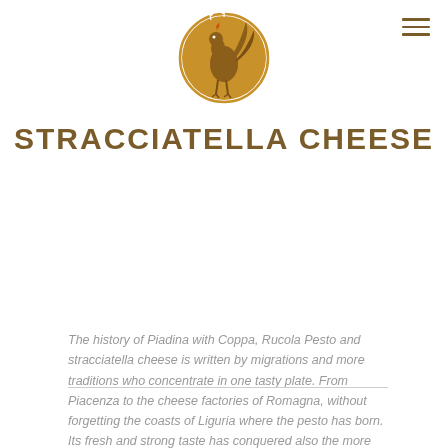[Figure (logo): Circular golden/brown logo with a rooster/bird and wheat motif]
STRACCIATELLA CHEESE
The history of Piadina with Coppa, Rucola Pesto and stracciatella cheese is written by migrations and more traditions who concentrate in one tasty plate. From Piacenza to the cheese factories of Romagna, without forgetting the coasts of Liguria where the pesto has born. Its fresh and strong taste has conquered also the more skeptic people. Enjoy!